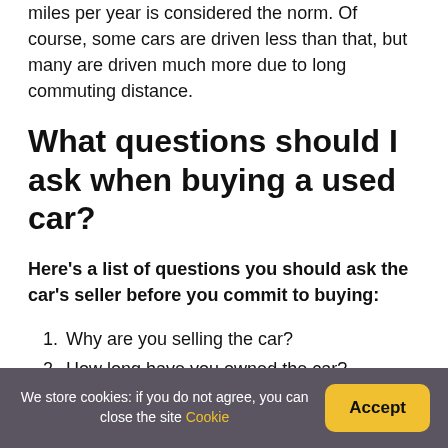miles per year is considered the norm. Of course, some cars are driven less than that, but many are driven much more due to long commuting distance.
What questions should I ask when buying a used car?
Here's a list of questions you should ask the car's seller before you commit to buying:
1. Why are you selling the car?
2. How long have you owned the car?
3. Who did you buy the vehicle from?
We store cookies: if you do not agree, you can close the site Cookie   Accept